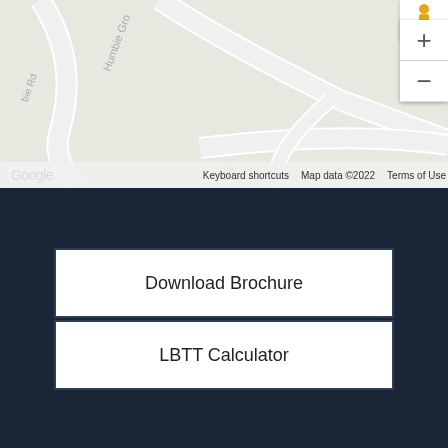[Figure (map): Google Maps screenshot showing Humbie Ct street area with road labels 'Humbie Grove', 'Humbie Ct', 'Humbie Rd'. Map controls (pegman, zoom in/out) visible on right side. Google logo and map attribution at bottom.]
Keyboard shortcuts   Map data ©2022   Terms of Use
Download Brochure
LBTT Calculator